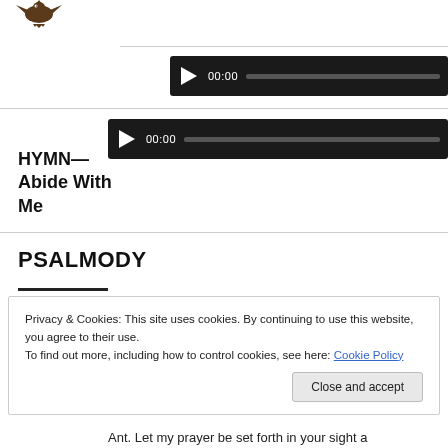[Figure (illustration): Small decorative bird/eagle illustration at top left]
[Figure (screenshot): Audio player 1 - black media player bar showing play button, 00:00 timestamp, and grey progress bar]
[Figure (screenshot): Audio player 2 - black media player bar showing play button, 00:00 timestamp, and grey progress bar]
HYMN—
Abide With Me
PSALMODY
Privacy & Cookies: This site uses cookies. By continuing to use this website, you agree to their use.
To find out more, including how to control cookies, see here: Cookie Policy
Ant. Let my prayer be set forth in your sight a